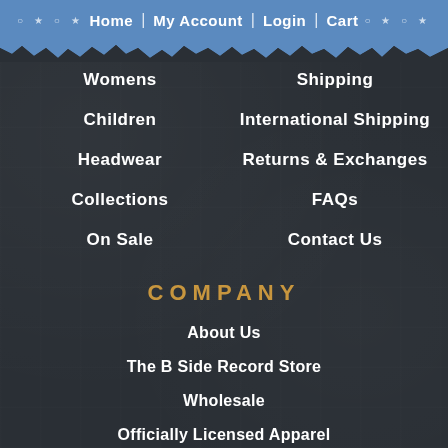Home | My Account | Login | Cart
Womens
Children
Headwear
Collections
On Sale
Shipping
International Shipping
Returns & Exchanges
FAQs
Contact Us
COMPANY
About Us
The B Side Record Store
Wholesale
Officially Licensed Apparel
Custom Screen Printing
Fundraisers
Press
Testimonials